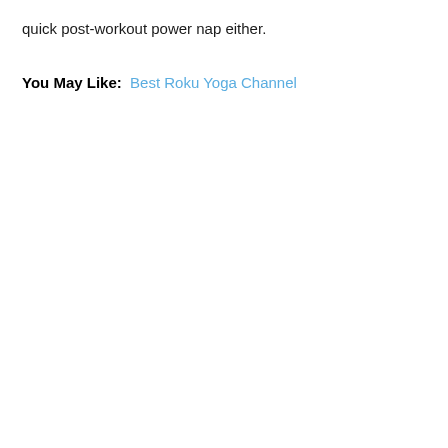quick post-workout power nap either.
You May Like:  Best Roku Yoga Channel